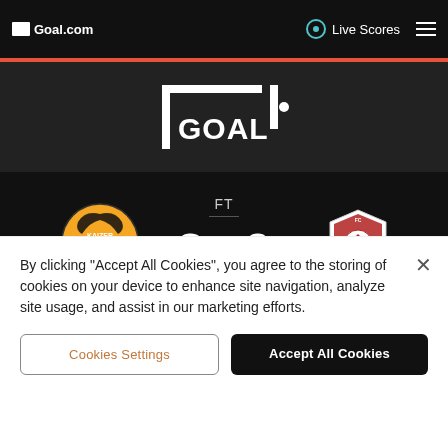Goal.com  Live Scores
[Figure (logo): GOAL logo — white bracket-style goalpost frame with GOAL text inside on dark background]
[Figure (infographic): Football match score: KZC (Kaizer Chiefs) vs SEK (Sekhukhune United), Full Time result 2-0. Left: Kaizer Chiefs golden crest logo with text KZC. Center: FT label and score 2 - 0. Right: Sekhukhune United shield logo with text SEK. Scorers: Nkosingiphile Ngcobo (24), P. Nange (87).]
By clicking "Accept All Cookies", you agree to the storing of cookies on your device to enhance site navigation, analyze site usage, and assist in our marketing efforts.
Cookies Settings
Accept All Cookies